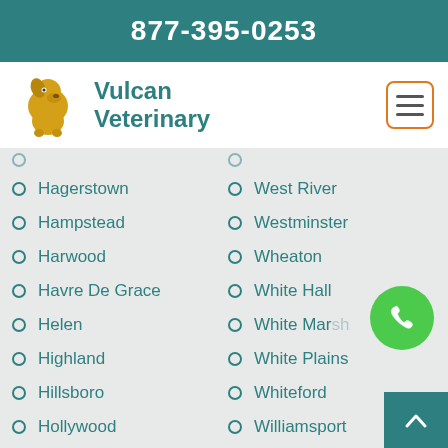877-395-0253
[Figure (logo): Vulcan Veterinary logo with golden dog silhouette and teal brand name]
Hagerstown
Hampstead
Harwood
Havre De Grace
Helen
Highland
Hillsboro
Hollywood
Hughesville
Hunt Valley
Huntingtown
Hurlock
West River
Westminster
Wheaton
White Hall
White Marsh
White Plains
Whiteford
Williamsport
Wittman
Woodbine
Woodlawn
Woodsboro